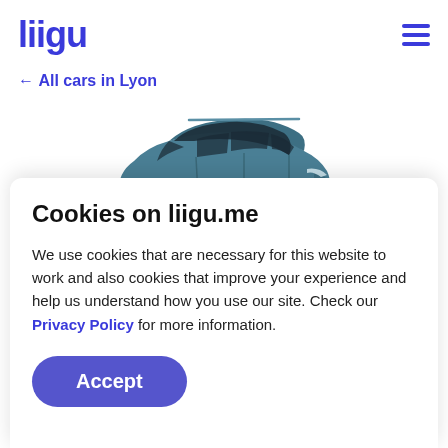liigu
← All cars in Lyon
[Figure (photo): A teal/blue SUV/minivan car photographed from a front-three-quarter angle against a white background.]
Cookies on liigu.me
We use cookies that are necessary for this website to work and also cookies that improve your experience and help us understand how you use our site. Check our Privacy Policy for more information.
Accept